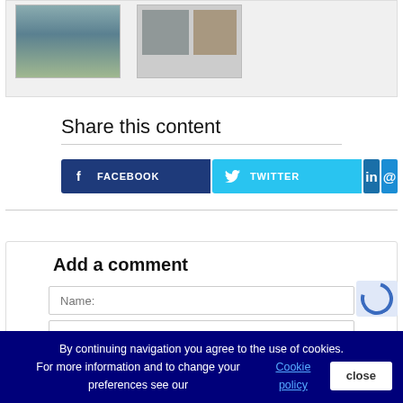[Figure (photo): Top gray box with two thumbnail images (a landscape photo and a composite of two smaller photos)]
Share this content
[Figure (infographic): Social share buttons: Facebook (dark blue), Twitter (cyan), LinkedIn (blue square with 'in'), Email (blue square with '@')]
Add a comment
Name:
Comment:
By continuing navigation you agree to the use of cookies. For more information and to change your preferences see our Cookie policy